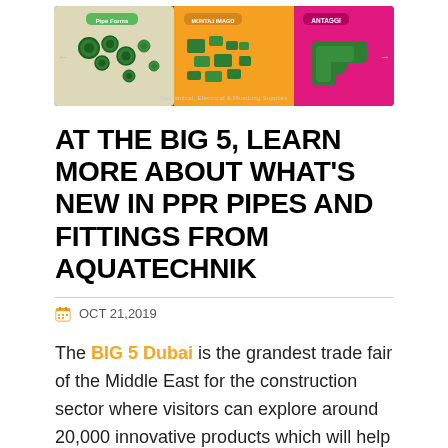[Figure (infographic): Banner advertisement for Mechanical, Electrical & Plumbing Supplies showing PPR pipes (green circles on beige background), fittings (green pieces on orange background), and pipe fittings (green elbow on pink background), with section labels Pipe Forms, Montaj Imago, and Antaggi.]
AT THE BIG 5, LEARN MORE ABOUT WHAT'S NEW IN PPR PIPES AND FITTINGS FROM AQUATECHNIK
OCT 21,2019
The BIG 5 Dubai is the grandest trade fair of the Middle East for the construction sector where visitors can explore around 20,000 innovative products which will help them to stay up-to-date with the industry's latest developments. This event